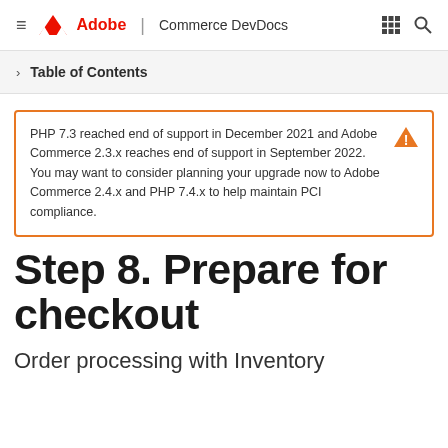≡  Adobe | Commerce DevDocs
> Table of Contents
PHP 7.3 reached end of support in December 2021 and Adobe Commerce 2.3.x reaches end of support in September 2022. You may want to consider planning your upgrade now to Adobe Commerce 2.4.x and PHP 7.4.x to help maintain PCI compliance.
Step 8. Prepare for checkout
Order processing with Inventory